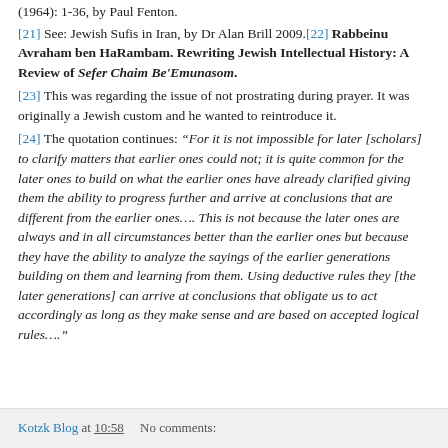(1964): 1-36, by Paul Fenton.
[21] See: Jewish Sufis in Iran, by Dr Alan Brill 2009.[22] Rabbeinu Avraham ben HaRambam. Rewriting Jewish Intellectual History: A Review of Sefer Chaim Be'Emunasom.
[23] This was regarding the issue of not prostrating during prayer. It was originally a Jewish custom and he wanted to reintroduce it.
[24] The quotation continues: “For it is not impossible for later [scholars] to clarify matters that earlier ones could not; it is quite common for the later ones to build on what the earlier ones have already clarified giving them the ability to progress further and arrive at conclusions that are different from the earlier ones…. This is not because the later ones are always and in all circumstances better than the earlier ones but because they have the ability to analyze the sayings of the earlier generations building on them and learning from them. Using deductive rules they [the later generations] can arrive at conclusions that obligate us to act accordingly as long as they make sense and are based on accepted logical rules….”
Kotzk Blog at 10:58    No comments: